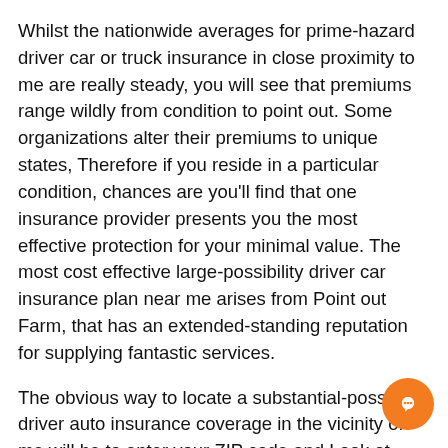Whilst the nationwide averages for prime-hazard driver car or truck insurance in close proximity to me are really steady, you will see that premiums range wildly from condition to point out. Some organizations alter their premiums to unique states, Therefore if you reside in a particular condition, chances are you'll find that one insurance provider presents you the most effective protection for your minimal value. The most cost effective large-possibility driver car insurance plan near me arises from Point out Farm, that has an extended-standing reputation for supplying fantastic services.
The obvious way to locate a substantial-possibility driver auto insurance coverage in the vicinity of me will be to enter your ZIP code and Look at estimates. The cost of substantial-threat auto coverage near me can differ from point out to point out, but most large insurers give these kinds of protection. Many of these firms specialize in high threat coverage, including National Standard. You could